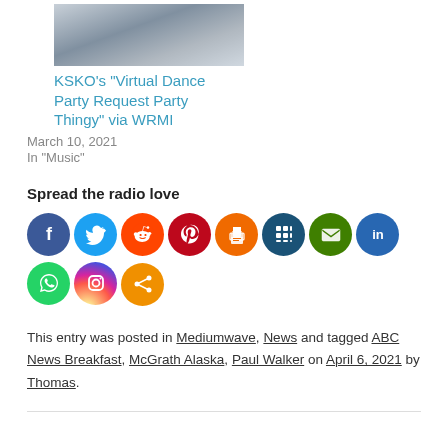[Figure (photo): Thumbnail image of a snowy scene with a red building]
KSKO’s “Virtual Dance Party Request Party Thingy” via WRMI
March 10, 2021
In "Music"
Spread the radio love
[Figure (infographic): Row of social media sharing icons: Facebook, Twitter, Reddit, Pinterest, Print, Social/Community, Email, LinkedIn, WhatsApp, Instagram, and a generic share icon]
This entry was posted in Mediumwave, News and tagged ABC News Breakfast, McGrath Alaska, Paul Walker on April 6, 2021 by Thomas.